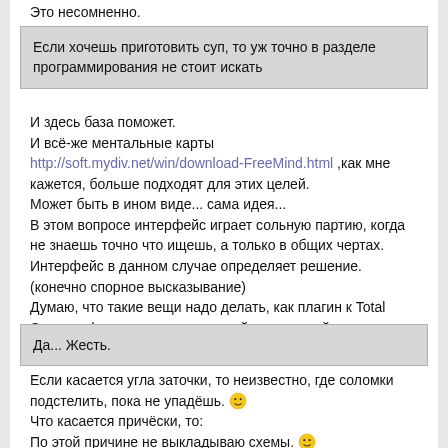Это несомненно.
Если хочешь приготовить суп, то уж точно в разделе программирования не стоит искать
И здесь база поможет.
И всё-же ментальные карты http://soft.mydiv.net/win/download-FreeMind.html ,как мне кажется, больше подходят для этих целей.
Может быть в ином виде... сама идея...
В этом вопросе интерфейс играет сольную партию, когда не знаешь точно что ищешь, а только в общих чертах.
Интерфейс в данном случае определяет решение.
(конечно спорное высказывание)
Думаю, что такие вещи надо делать, как плагин к Total Commander с замещением левой, или правой панели.
Tad,
Да... Жесть.
Если касается угла заточки, то неизвестно, где соломки подстелить, пока не упадёшь. 😀
Что касается причёски, то:
По этой причине не выкладываю схемы. 😀
Хотел выложить схему создания плагинов для Total Commander, а оно тянет создание Dll, и всё надо причёсывать.
Надо собраться духом и начать с небольших схем-утилит, где работа парикмахера не столь велика.
Когда выкладываешь на "продажу" оно обуславливает